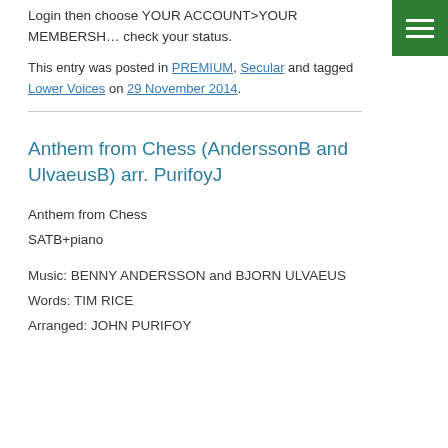Login then choose YOUR ACCOUNT>YOUR MEMBERSHIP check your status.
This entry was posted in PREMIUM, Secular and tagged Lower Voices on 29 November 2014.
Anthem from Chess (AnderssonB and UlvaeusB) arr. PurifoyJ
Anthem from Chess
SATB+piano
Music: BENNY ANDERSSON and BJORN ULVAEUS
Words: TIM RICE
Arranged: JOHN PURIFOY